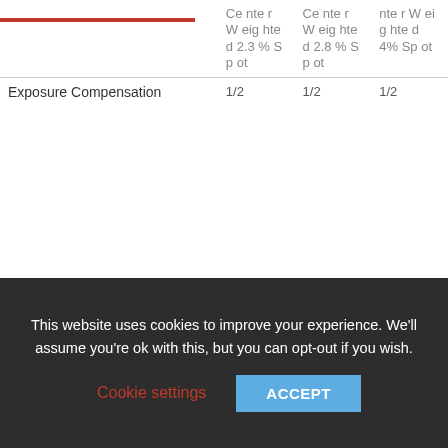|  | Center Weighted 2.3% Spot | Center Weighted 2.8% Spot | Center Weighted 4% Spot |
| --- | --- | --- | --- |
| Exposure Compensation | 1/2 | 1/2 | 1/2 |
This website uses cookies to improve your experience. We'll assume you're ok with this, but you can opt-out if you wish.
Cookie settings   ACCEPT